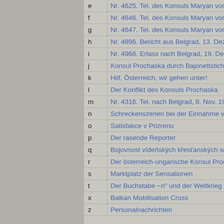| e | Nr. 4625. Tel. des Konsuls Maryan von Hei… |
| f | Nr. 4646. Tel. des Konsuls Maryan von Hei… |
| g | Nr. 4647. Tel. des Konsuls Maryan von Hei… |
| h | Nr. 4896. Bericht aus Belgrad, 13. Dez. 191… |
| i | Nr. 4968. Erlass nach Belgrad, 19. Dez. 191… |
| j | Konsul Prochaska durch Bajonettstiche verl… |
| k | Hilf, Österreich, wir gehen unter! |
| l | Der Konflikt des Konsuls Prochaska |
| m | Nr. 4316. Tel. nach Belgrad, 8. Nov. 1912 |
| n | Schreckenszenen bei der Einnahme von Pr… |
| o | Satisfakce v Prizrenu |
| p | Der rasende Reporter |
| q | Bojovnost vídeňských křesťanských sociálů… |
| r | Der österreich-ungarische Konsul Prochasc… |
| s | Marktplatz der Sensationen |
| t | Der Buchstabe ~n" und der Weltkrieg |
| x | Balkan Mobilisation Cross |
| z | Personalnachrichten |